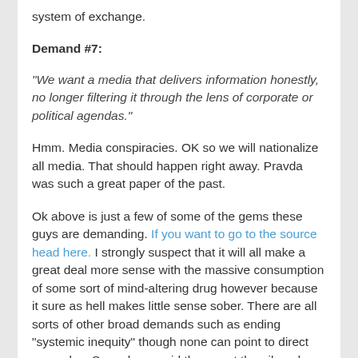system of exchange.
Demand #7:
“We want a media that delivers information honestly, no longer filtering it through the lens of corporate or political agendas.”
Hmm. Media conspiracies. OK so we will nationalize all media. That should happen right away. Pravda was such a great paper of the past.
Ok above is just a few of some of the gems these guys are demanding. If you want to go to the source head here. I strongly suspect that it will all make a great deal more sense with the massive consumption of some sort of mind-altering drug however because it sure as hell makes little sense sober. There are all sorts of other broad demands such as ending “systemic inequity” though none can point to direct examples. Some have said they want the oilsands totally shut down while others are on about pipelines. The list of demands appears to be as infinite as the schedule of those squatters.